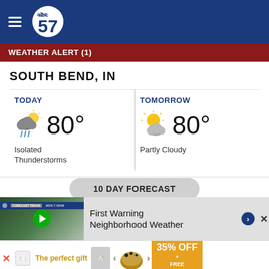abc57 - navigation header
WEATHER ALERT (1)
SOUTH BEND, IN
TODAY 80° Isolated Thunderstorms
TOMORROW 80° Partly Cloudy
10 DAY FORECAST
First Warning Neighborhood Weather
The perfect gift  35% OFF + FREE SHIPPING